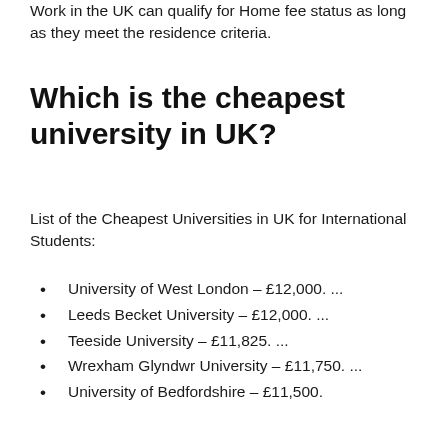Work in the UK can qualify for Home fee status as long as they meet the residence criteria.
Which is the cheapest university in UK?
List of the Cheapest Universities in UK for International Students:
University of West London – £12,000. ...
Leeds Becket University – £12,000. ...
Teeside University – £11,825. ...
Wrexham Glyndwr University – £11,750. ...
University of Bedfordshire – £11,500.